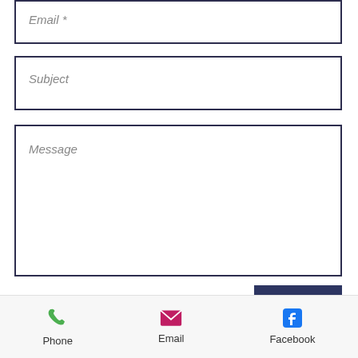Email *
Subject
Message
SEND
© 2023 by Julia Poliadis.
[Figure (infographic): Mobile navigation footer bar with three icons: Phone (green phone icon), Email (pink envelope icon), Facebook (blue Facebook icon)]